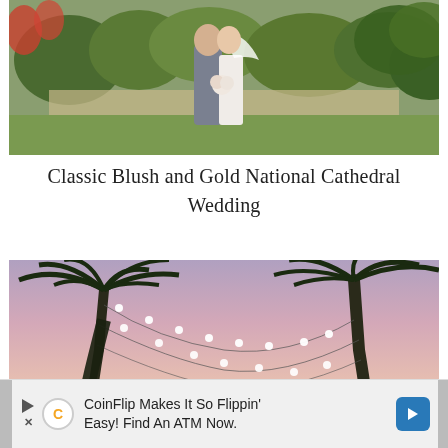[Figure (photo): Bride and groom kissing in a garden setting with greenery, the groom in a grey suit and the bride in a white dress holding a bouquet]
Classic Blush and Gold National Cathedral Wedding
[Figure (photo): Two palm trees at dusk/twilight with string lights draped between them, pink and purple sky in the background]
CoinFlip Makes It So Flippin' Easy! Find An ATM Now.